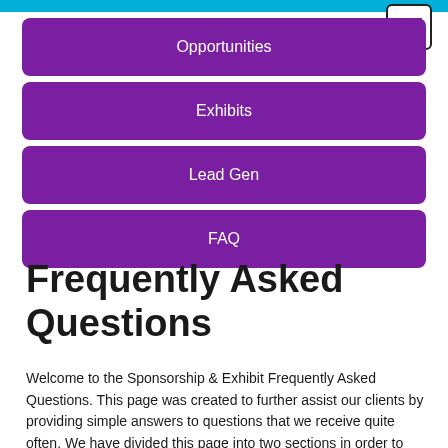[Figure (screenshot): Hamburger menu button (three horizontal lines) in top right corner with border]
Opportunities
Exhibits
Lead Gen
FAQ
Frequently Asked Questions
Welcome to the Sponsorship & Exhibit Frequently Asked Questions. This page was created to further assist our clients by providing simple answers to questions that we receive quite often. We have divided this page into two sections in order to